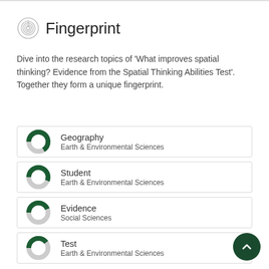Fingerprint
Dive into the research topics of 'What improves spatial thinking? Evidence from the Spatial Thinking Abilities Test'. Together they form a unique fingerprint.
Geography
Earth & Environmental Sciences
Student
Earth & Environmental Sciences
Evidence
Social Sciences
Test
Earth & Environmental Sciences